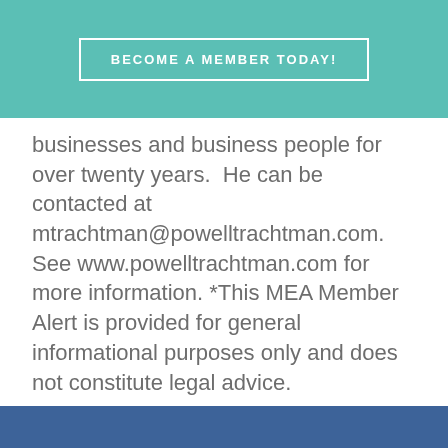BECOME A MEMBER TODAY!
businesses and business people for over twenty years.  He can be contacted at mtrachtman@powelltrachtman.com. See www.powelltrachtman.com for more information. *This MEA Member Alert is provided for general informational purposes only and does not constitute legal advice.
[Figure (logo): Facebook, Twitter, and LinkedIn social media icons in teal/green rounded squares]